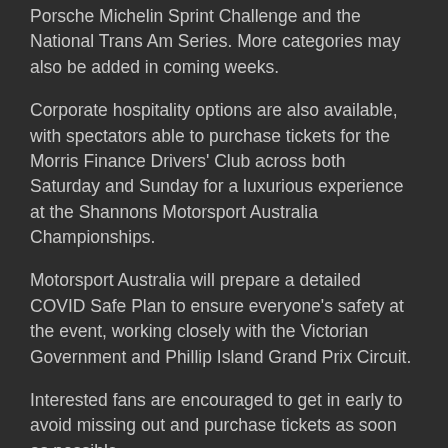Porsche Michelin Sprint Challenge and the National Trans Am Series. More categories may also be added in coming weeks.
Corporate hospitality options are also available, with spectators able to purchase tickets for the Morris Finance Drivers' Club across both Saturday and Sunday for a luxurious experience at the Shannons Motorsport Australia Championships.
Motorsport Australia will prepare a detailed COVID Safe Plan to ensure everyone's safety at the event, working closely with the Victorian Government and Phillip Island Grand Prix Circuit.
Interested fans are encouraged to get in early to avoid missing out and purchase tickets as soon as possible.
General admission tickets are available for $25 each day, or $40 for a two-day weekend pass. Children 15 and under are free but MUST REGISTER